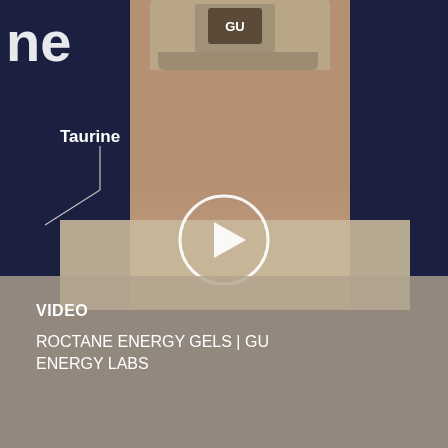[Figure (screenshot): Video thumbnail showing a man wearing a GU-branded hat and beige button-up shirt, standing in front of a dark navy blue background with white text overlays including 'Taurine' with a line pointer and a partial word ending in 'ne' at top-left. A large white play button circle is overlaid in the center of the image. The bottom portion has a semi-transparent beige/tan overlay with text.]
VIDEO
ROCTANE ENERGY GELS | GU ENERGY LABS